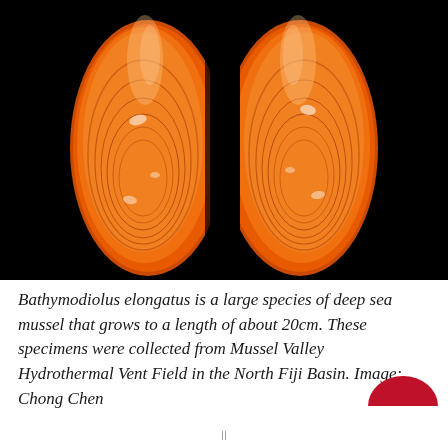[Figure (photo): Two orange/amber-colored deep sea mussel shells (Bathymodiolus elongatus) photographed against a black background, showing the interior valve surfaces with concentric growth rings and white mineral deposits.]
Bathymodiolus elongatus is a large species of deep sea mussel that grows to a length of about 20cm. These specimens were collected from Mussel Valley Hydrothermal Vent Field in the North Fiji Basin. Image: Chong Chen